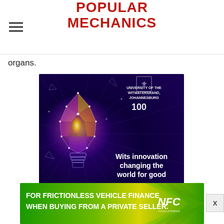POPULAR MECHANICS
organs.
[Figure (illustration): University of the Witwatersrand advertisement featuring a geometric glowing lightbulb made of triangular facets on a dark blue/purple background with the text 'Wits innovation changing the world for good' and the university logo with 100 years emblem]
[Figure (illustration): NFC advertisement on green background with text 'FOR FRICTIONLESS VEHICLE FINANCE WHEN BUYING FROM A PRIVATE SELLER.' with NFC logo]